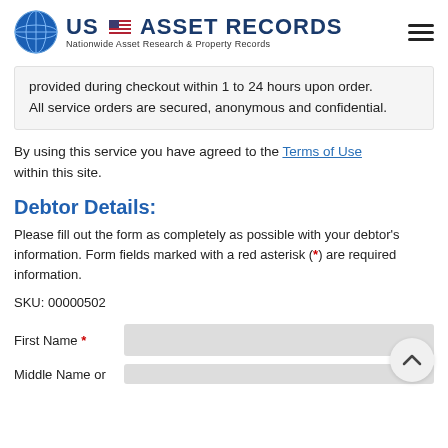US ASSET RECORDS — Nationwide Asset Research & Property Records
provided during checkout within 1 to 24 hours upon order. All service orders are secured, anonymous and confidential.
By using this service you have agreed to the Terms of Use within this site.
Debtor Details:
Please fill out the form as completely as possible with your debtor's information. Form fields marked with a red asterisk (*) are required information.
SKU: 00000502
First Name *
Middle Name or